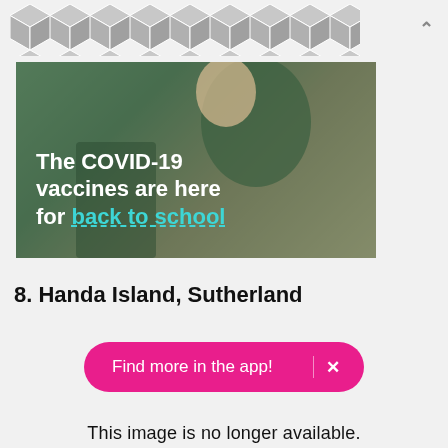[Figure (illustration): Geometric hexagonal/cube tile pattern banner in grey, with a chevron/up arrow on the right side]
[Figure (photo): Advertisement photo: mother holding child outdoors. Text overlay reads: 'The COVID-19 vaccines are here for back to school' with 'back to school' in teal/cyan color with dashed underline.]
8. Handa Island, Sutherland
[Figure (other): Pink/magenta pill-shaped button reading 'Find more in the app!' with an X close button]
This image is no longer available.